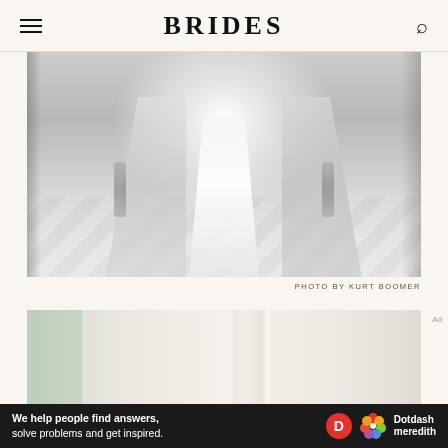BRIDES
[Figure (photo): Black and white photo showing the bottom of a wedding dress/veil with ornate silver shoe or furniture legs visible on a herringbone marble tile floor]
PHOTO BY KURT BOOMER
[Figure (photo): Color photo showing a light airy room with white curtains and soft natural light, partially visible]
Ad
We help people find answers, solve problems and get inspired.  Dotdash meredith